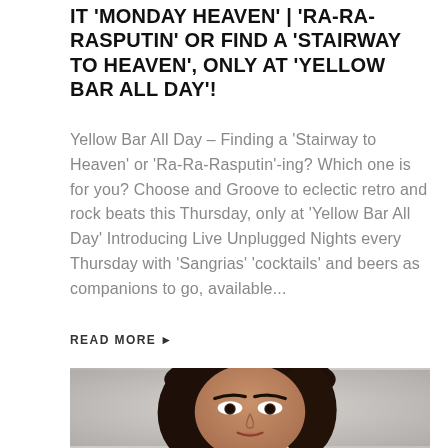IT 'MONDAY HEAVEN' | 'RA-RA-RASPUTIN' OR FIND A 'STAIRWAY TO HEAVEN', ONLY AT 'YELLOW BAR ALL DAY'!
Yellow Bar All Day – Finding a 'Stairway to Heaven' or 'Ra-Ra-Rasputin'-ing? Which one is for you? Choose and Groove to eclectic retro and rock beats this Thursday, only at 'Yellow Bar All Day' Introducing Live Unplugged Nights every Thursday with 'Sangrias' 'cocktails' and beers as companions to go, available...
READ MORE ▶
[Figure (photo): Close-up portrait photo of a young woman with dark hair, dark eyes and eyebrows, looking directly at the camera against a neutral gray background]